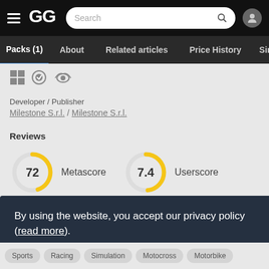GG — Search bar, hamburger menu, user icon
Packs (1) | About | Related articles | Price History | Similar G
[Figure (screenshot): Platform icons: Windows, controller with check, NVIDIA eye logo]
Developer / Publisher
Milestone S.r.l. / Milestone S.r.l.
Reviews
[Figure (donut-chart): Metascore]
[Figure (donut-chart): Userscore]
By using the website, you accept our privacy policy (read more).
Got it!
Sports
Racing
Simulation
Motocross
Motorbike